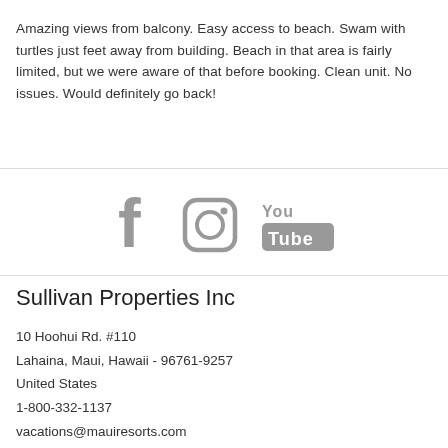Amazing views from balcony. Easy access to beach. Swam with turtles just feet away from building. Beach in that area is fairly limited, but we were aware of that before booking. Clean unit. No issues. Would definitely go back!
[Figure (infographic): Social media icons: Facebook (f), Instagram (camera icon), YouTube (You/Tube icon) in gray]
Sullivan Properties Inc
10 Hoohui Rd. #110
Lahaina, Maui, Hawaii - 96761-9257
United States
1-800-332-1137
vacations@mauiresorts.com
Book Direct and Save